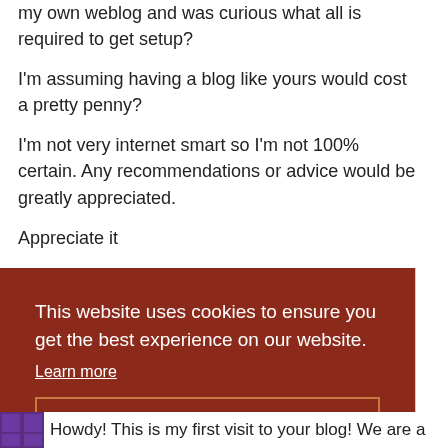my own weblog and was curious what all is required to get setup?
I'm assuming having a blog like yours would cost a pretty penny?
I'm not very internet smart so I'm not 100% certain. Any recommendations or advice would be greatly appreciated.
Appreciate it
This website uses cookies to ensure you get the best experience on our website. Learn more Got it!
Howdy! This is my first visit to your blog! We are a